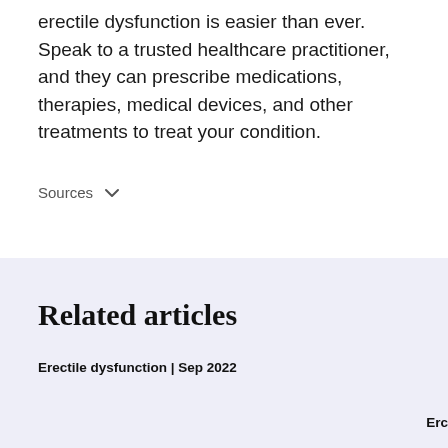erectile dysfunction is easier than ever. Speak to a trusted healthcare practitioner, and they can prescribe medications, therapies, medical devices, and other treatments to treat your condition.
Sources ∨
Related articles
Erectile dysfunction | Sep 2022